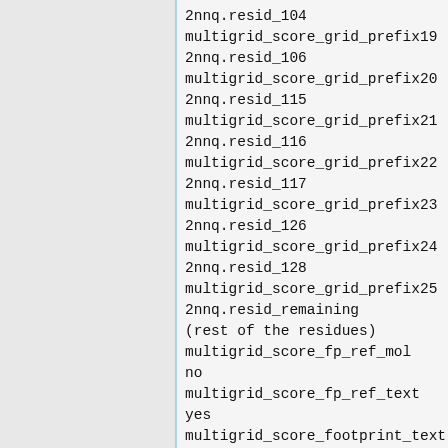2nnq.resid_104
multigrid_score_grid_prefix19
2nnq.resid_106
multigrid_score_grid_prefix20
2nnq.resid_115
multigrid_score_grid_prefix21
2nnq.resid_116
multigrid_score_grid_prefix22
2nnq.resid_117
multigrid_score_grid_prefix23
2nnq.resid_126
multigrid_score_grid_prefix24
2nnq.resid_128
multigrid_score_grid_prefix25
2nnq.resid_remaining
(rest of the residues)
multigrid_score_fp_ref_mol
no
multigrid_score_fp_ref_text
yes
multigrid_score_footprint_text
../2nnq.reference.txt
(generated earlier when
specifying the primary
residues)